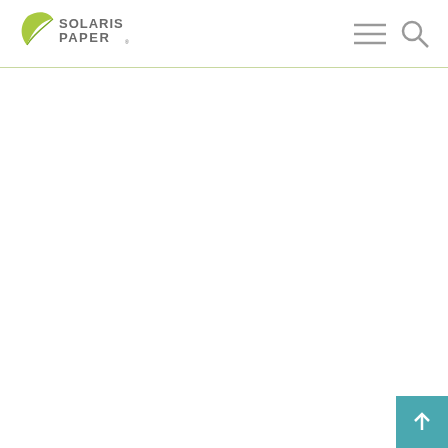Solaris Paper — navigation header with logo, hamburger menu, and search icon
[Figure (logo): Solaris Paper logo with green leaf icon and grey text reading SOLARIS PAPER]
[Figure (infographic): Back to top button: teal square with upward arrow in bottom-right corner]